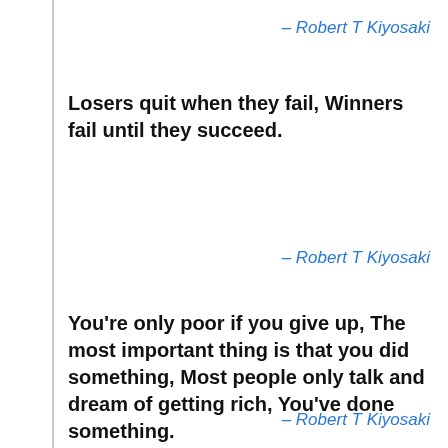– Robert T Kiyosaki
Losers quit when they fail, Winners fail until they succeed.
– Robert T Kiyosaki
You're only poor if you give up, The most important thing is that you did something, Most people only talk and dream of getting rich, You've done something.
– Robert T Kiyosaki